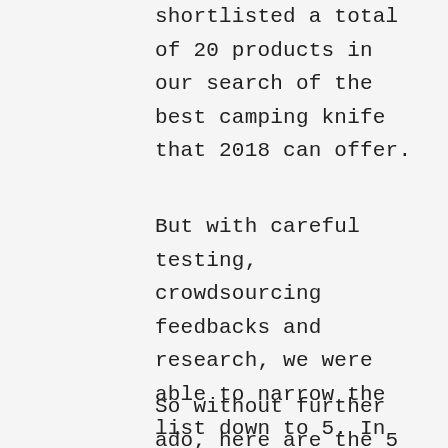shortlisted a total of 20 products in our search of the best camping knife that 2018 can offer.
But with careful testing, crowdsourcing feedbacks and research, we were able to narrow the list down to 5. In this article, we reviewed each of the best camping knives, highlighted their important features, while also revealing their pros and cons.
So without further ado, here are the 5 Best Camping Knives of